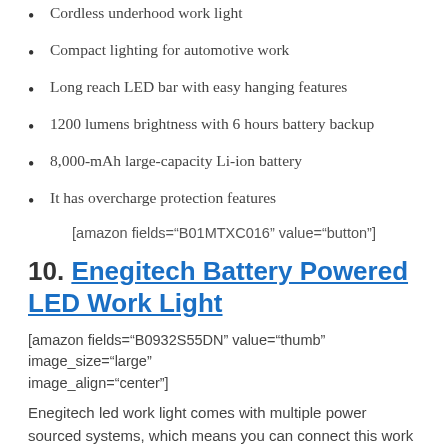Cordless underhood work light
Compact lighting for automotive work
Long reach LED bar with easy hanging features
1200 lumens brightness with 6 hours battery backup
8,000-mAh large-capacity Li-ion battery
It has overcharge protection features
[amazon fields="B01MTXC016" value="button"]
10. Enegitech Battery Powered LED Work Light
[amazon fields="B0932S55DN" value="thumb" image_size="large" image_align="center"]
Enegitech led work light comes with multiple power sourced systems, which means you can connect this work light with almost any popular brand's battery or 21V DC power adapter. Also, no matter which angle you are working, you can rotate this LED work light in 360 degrees, the...